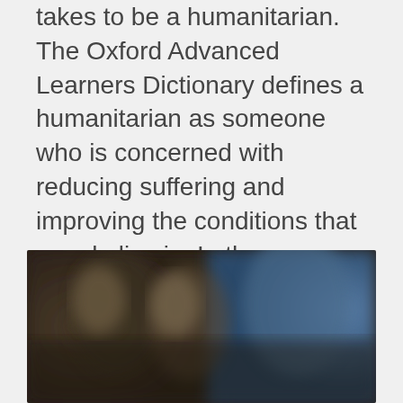takes to be a humanitarian. The Oxford Advanced Learners Dictionary defines a humanitarian as someone who is concerned with reducing suffering and improving the conditions that people live in. In the course of celebrating real life heroes on World Humanitarian Day, it was awe inspiring to know how men and women in the North West Region of Cameroon, young and old alike, have been selfless in helping their community in the midst of a double crisis situation (COVID-19 and Civil war).
[Figure (photo): A blurred photo showing people, with dark and blue tones visible in the background.]